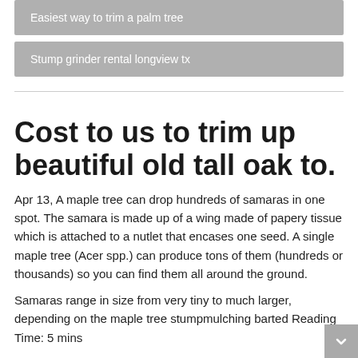Easiest way to trim a palm tree
Stump grinder rental longview tx
Cost to us to trim up beautiful old tall oak to.
Apr 13, A maple tree can drop hundreds of samaras in one spot. The samara is made up of a wing made of papery tissue which is attached to a nutlet that encases one seed. A single maple tree (Acer spp.) can produce tons of them (hundreds or thousands) so you can find them all around the ground.
Samaras range in size from very tiny to much larger, depending on the maple tree stumpmulching barted Reading Time: 5 mins